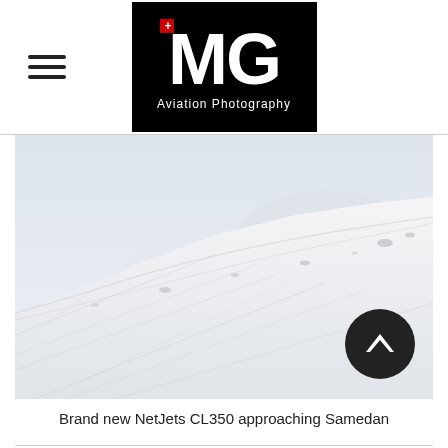[Figure (logo): MG Aviation Photography logo — white bold MG letters with a red cross/plus symbol on black background, with 'Aviation Photography' subtitle in white]
[Figure (photo): Aerial/ground-level photo of a snow-covered mountain slope with pale blue-white sky, showing a brand new NetJets CL350 aircraft approaching Samedan airport. The scene is predominantly white with snow textures and ridgelines.]
Brand new NetJets CL350 approaching Samedan